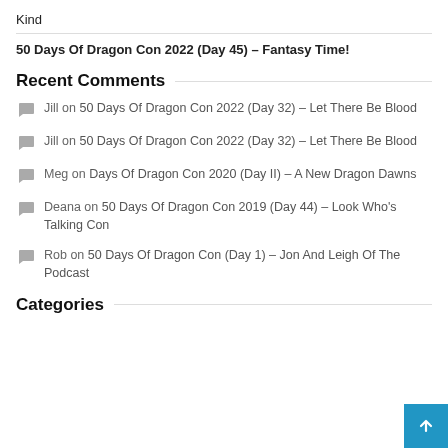Kind
50 Days Of Dragon Con 2022 (Day 45) – Fantasy Time!
Recent Comments
Jill on 50 Days Of Dragon Con 2022 (Day 32) – Let There Be Blood
Jill on 50 Days Of Dragon Con 2022 (Day 32) – Let There Be Blood
Meg on Days Of Dragon Con 2020 (Day II) – A New Dragon Dawns
Deana on 50 Days Of Dragon Con 2019 (Day 44) – Look Who's Talking Con
Rob on 50 Days Of Dragon Con (Day 1) – Jon And Leigh Of The Podcast
Categories